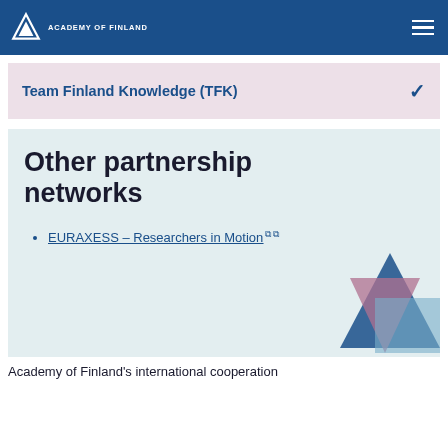ACADEMY OF FINLAND
Team Finland Knowledge (TFK)
Other partnership networks
EURAXESS – Researchers in Motion
Academy of Finland's international cooperation